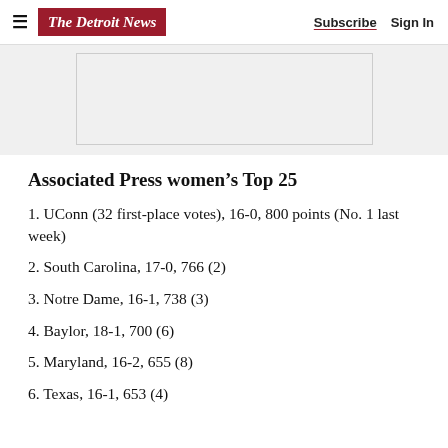The Detroit News   Subscribe   Sign In
Associated Press women's Top 25
1. UConn (32 first-place votes), 16-0, 800 points (No. 1 last week)
2. South Carolina, 17-0, 766 (2)
3. Notre Dame, 16-1, 738 (3)
4. Baylor, 18-1, 700 (6)
5. Maryland, 16-2, 655 (8)
6. Texas, 16-1, 653 (4)